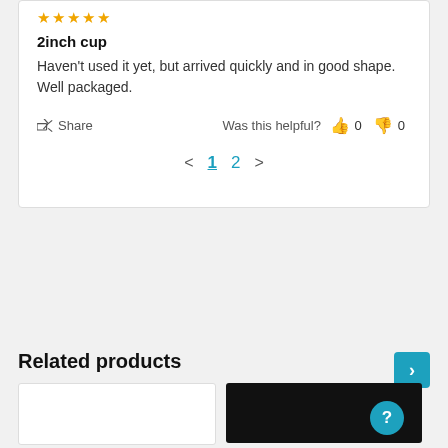[Figure (other): Star rating icons (gold stars)]
2inch cup
Haven't used it yet, but arrived quickly and in good shape. Well packaged.
Share   Was this helpful?  👍 0  👎 0
< 1 2 >
Related products
[Figure (other): Two product thumbnail cards side by side; left is white/empty, right is black.]